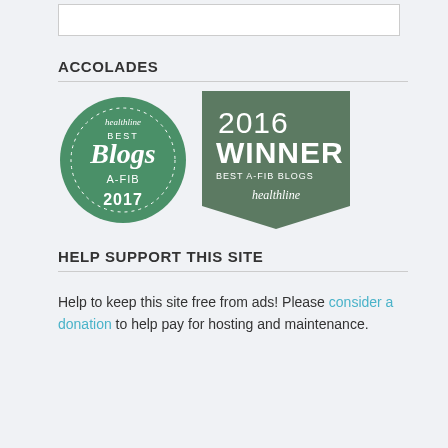[Figure (other): Empty white search input box]
ACCOLADES
[Figure (illustration): Two Healthline Best Blogs accolades: a green circle badge for A-FIB 2017 and a green banner badge for 2016 Winner Best A-Fib Blogs]
HELP SUPPORT THIS SITE
Help to keep this site free from ads! Please consider a donation to help pay for hosting and maintenance.